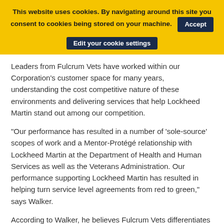This website uses cookies. By navigating around this site you consent to cookies being stored on your machine. Accept Edit your cookie settings
Leaders from Fulcrum Vets have worked within our Corporation’s customer space for many years, understanding the cost competitive nature of these environments and delivering services that help Lockheed Martin stand out among our competition.
“Our performance has resulted in a number of ‘sole-source’ scopes of work and a Mentor-Protégé relationship with Lockheed Martin at the Department of Health and Human Services as well as the Veterans Administration. Our performance supporting Lockheed Martin has resulted in helping turn service level agreements from red to green,” says Walker.
According to Walker, he believes Fulcrum Vets differentiates itself by managing highly classified work,